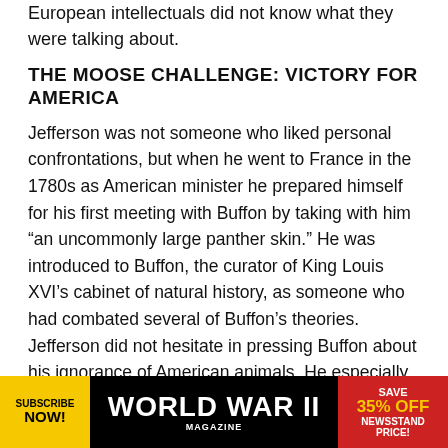European intellectuals did not know what they were talking about.
THE MOOSE CHALLENGE: VICTORY FOR AMERICA
Jefferson was not someone who liked personal confrontations, but when he went to France in the 1780s as American minister he prepared himself for his first meeting with Buffon by taking with him “an uncommonly large panther skin.” He was introduced to Buffon, the curator of King Louis XVI’s cabinet of natural history, as someone who had combated several of Buffon’s theories. Jefferson did not hesitate in pressing Buffon about his ignorance of American animals. He especially stressed the great size of the American moose and
[Figure (infographic): World War II Magazine subscription advertisement banner. Yellow circle with 'SUBSCRIBE NOW!' text, black background with 'WORLD WAR II MAGAZINE' text, red section with 'SAVE 35% OFF NEWSSTAND PRICE!']